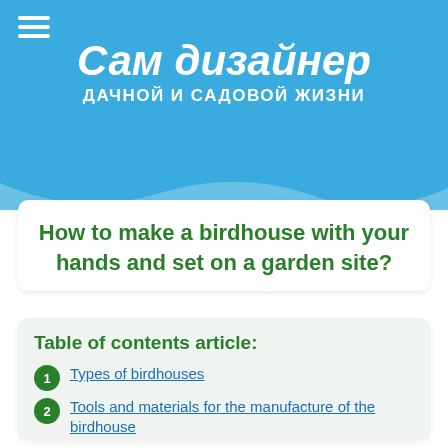Сам дизайнер дачной и садовой жизни
How to make a birdhouse with your hands and set on a garden site?
Table of contents article:
1. Types of birdhouses
2. Tools and materials for the manufacture of the birdhouse
3. Instructions for making a birdhouse with his own hands
4. Installing a birdhouse in the garden